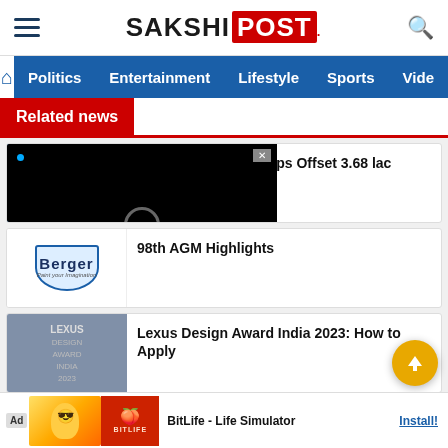SAKSHI POST
Politics  Entertainment  Lifestyle  Sports  Vide
Related news
[Figure (screenshot): Video player overlay (black) with loading spinner and close (x) button, showing news thumbnail behind.]
Muthoot Microfin Helps Offset 3.68 lac n Emission Through Program
[Figure (logo): Berger Paints shield logo]
98th AGM Highlights
[Figure (photo): Lexus Design Award India 2023 thumbnail]
Lexus Design Award India 2023: How to Apply
[Figure (screenshot): BitLife - Life Simulator advertisement banner with cartoon character, sperm icon, and Install button]